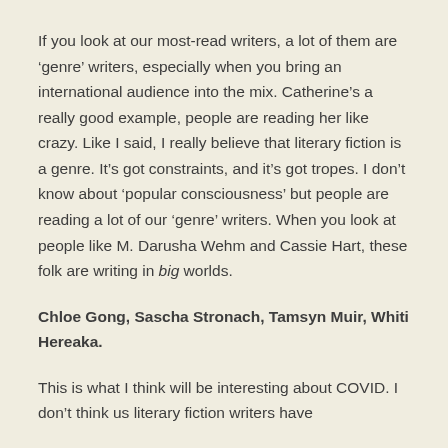If you look at our most-read writers, a lot of them are 'genre' writers, especially when you bring an international audience into the mix. Catherine's a really good example, people are reading her like crazy. Like I said, I really believe that literary fiction is a genre. It's got constraints, and it's got tropes. I don't know about 'popular consciousness' but people are reading a lot of our 'genre' writers. When you look at people like M. Darusha Wehm and Cassie Hart, these folk are writing in big worlds.
Chloe Gong, Sascha Stronach, Tamsyn Muir, Whiti Hereaka.
This is what I think will be interesting about COVID. I don't think us literary fiction writers have